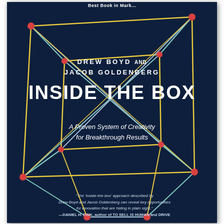Best Book in Mark...
[Figure (illustration): Book cover of 'Inside the Box' with dark navy background and a geometric network diagram showing interconnected nodes (red circles) connected by yellow, teal, and light blue lines forming a box-like 3D lattice structure]
DREW BOYD AND
JACOB GOLDENBERG
INSIDE THE BOX
A Proven System of Creativity
for Breakthrough Results
"The 'inside-the-box' approach described by Drew Boyd and Jacob Goldenberg can reveal key opportunities for innovation that are hiding in plain sight."
—DANIEL H. PINK, author of TO SELL IS HUMAN and DRIVE